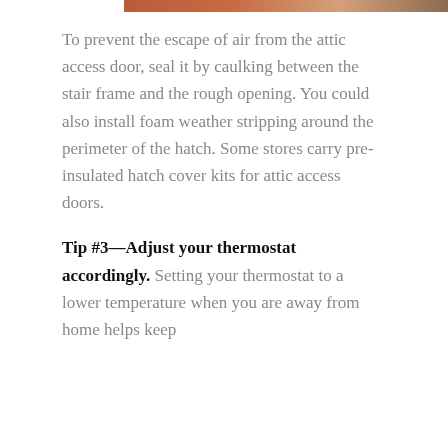[Figure (photo): Partial image strip at top of page, showing what appears to be a door or home interior]
To prevent the escape of air from the attic access door, seal it by caulking between the stair frame and the rough opening. You could also install foam weather stripping around the perimeter of the hatch. Some stores carry pre-insulated hatch cover kits for attic access doors.
Tip #3—Adjust your thermostat accordingly. Setting your thermostat to a lower temperature when you are away from home helps keep